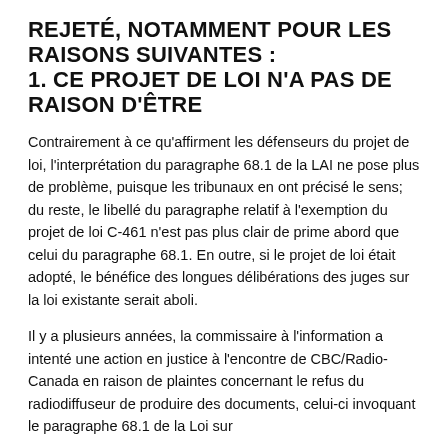REJETÉ, NOTAMMENT POUR LES RAISONS SUIVANTES : 1. CE PROJET DE LOI N'A PAS DE RAISON D'ÊTRE
Contrairement à ce qu'affirment les défenseurs du projet de loi, l'interprétation du paragraphe 68.1 de la LAI ne pose plus de problème, puisque les tribunaux en ont précisé le sens; du reste, le libellé du paragraphe relatif à l'exemption du projet de loi C-461 n'est pas plus clair de prime abord que celui du paragraphe 68.1. En outre, si le projet de loi était adopté, le bénéfice des longues délibérations des juges sur la loi existante serait aboli.
Il y a plusieurs années, la commissaire à l'information a intenté une action en justice à l'encontre de CBC/Radio-Canada en raison de plaintes concernant le refus du radiodiffuseur de produire des documents, celui-ci invoquant le paragraphe 68.1 de la Loi sur